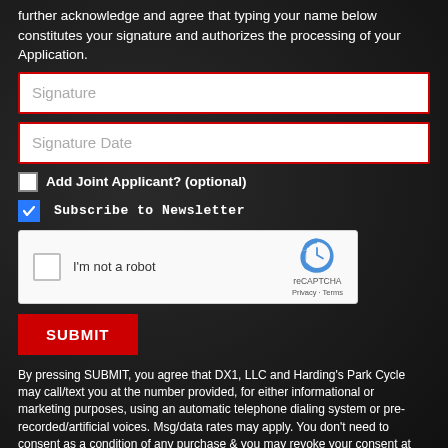further acknowledge and agree that typing your name below constitutes your signature and authorizes the processing of your Application.
[Figure (screenshot): Signature input field with red border and placeholder text 'Signature']
[Figure (screenshot): Signature Date input field with red border and placeholder text 'Signature Date']
Add Joint Applicant? (optional)
Subscribe to Newsletter
[Figure (screenshot): reCAPTCHA widget with checkbox, 'I'm not a robot' text, reCAPTCHA logo, Privacy and Terms links]
SUBMIT
By pressing SUBMIT, you agree that DX1, LLC and Harding's Park Cycle may call/text you at the number provided, for either informational or marketing purposes, using an automatic telephone dialing system or pre-recorded/artificial voices. Msg/data rates may apply. You don't need to consent as a condition of any purchase & you may revoke your consent at